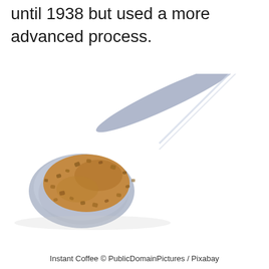until 1938 but used a more advanced process.
[Figure (photo): A metal spoon filled with instant coffee granules, photographed on a white background.]
Instant Coffee © PublicDomainPictures / Pixabay